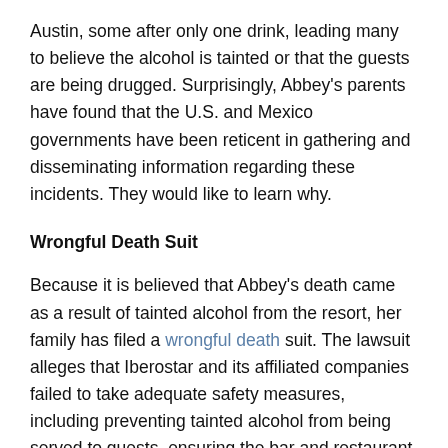Austin, some after only one drink, leading many to believe the alcohol is tainted or that the guests are being drugged. Surprisingly, Abbey's parents have found that the U.S. and Mexico governments have been reticent in gathering and disseminating information regarding these incidents. They would like to learn why.
Wrongful Death Suit
Because it is believed that Abbey's death came as a result of tainted alcohol from the resort, her family has filed a wrongful death suit. The lawsuit alleges that Iberostar and its affiliated companies failed to take adequate safety measures, including preventing tainted alcohol from being served to guests, ensuring the bar and restaurant staff were properly trained, and providing adequate surveillance cameras and lifeguards around the pool